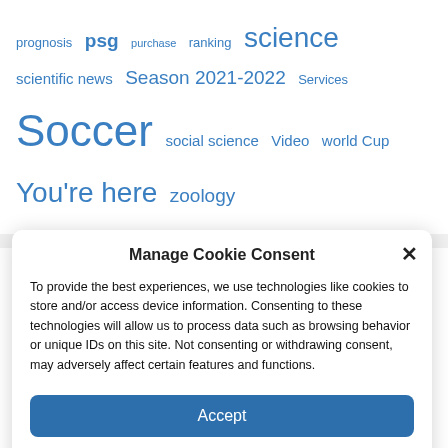prognosis  psg  purchase  ranking  science  scientific news  Season 2021-2022  Services  Soccer  social science  Video  world Cup  You're here  zoology
Manage Cookie Consent
To provide the best experiences, we use technologies like cookies to store and/or access device information. Consenting to these technologies will allow us to process data such as browsing behavior or unique IDs on this site. Not consenting or withdrawing consent, may adversely affect certain features and functions.
Accept
Cookie Policy